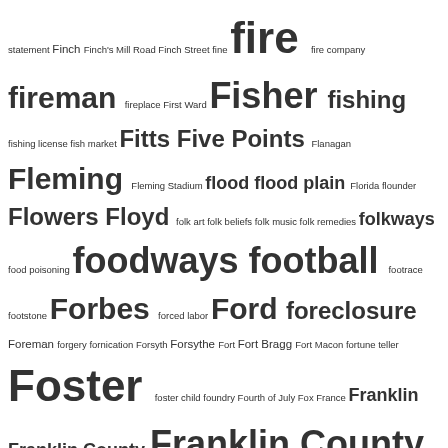statement Finch Finch's Mill Road Finch Street fine fire fire company fireman fireplace First Ward Fisher fishing fishing license fish market Fitts Five Points Flanagan Fleming Fleming Stadium flood flood plain Florida flounder Flowers Floyd folk art folk beliefs folk music folk remedies folkways food poisoning foodways football footrace footstone Forbes forced labor Ford foreclosure Foreman forgery fornication Forsyth Forsythe Fort Fort Bragg Fort Macon fortune teller Foster foster child foundry Fourth of July Fox France Franklin Franklin County Franklin County NC Franklin D. Roosevelt fraternal organization fratricide fraud Frederick Douglass High School free-for-all freedmen Freedmen's Bank Freedmen's Bureau Freeman Freeman Round House Freeman Roundhouse Freeman Vines free pass free people of color Free Will Baptist church Freewill Baptist church freight car freight train hopping friendship Friends of East End Cemetery Friends of Geer Cemetery Friends of the Archives frostbite fugitive Fulcher Fulghum